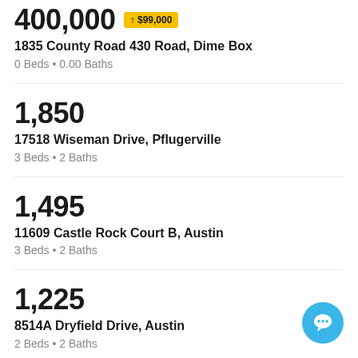400,000 ↑ $99,000
1835 County Road 430 Road, Dime Box
0 Beds • 0.00 Baths
1,850
17518 Wiseman Drive, Pflugerville
3 Beds • 2 Baths
1,495
11609 Castle Rock Court B, Austin
3 Beds • 2 Baths
1,225
8514A Dryfield Drive, Austin
2 Beds • 2 Baths